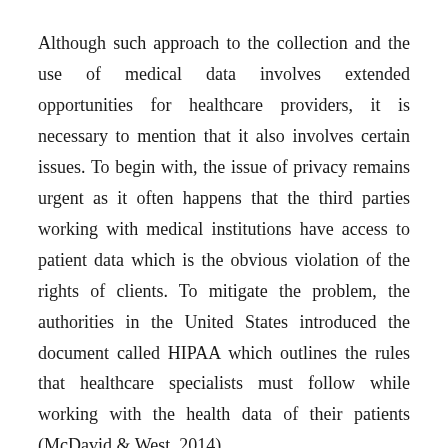Although such approach to the collection and the use of medical data involves extended opportunities for healthcare providers, it is necessary to mention that it also involves certain issues. To begin with, the issue of privacy remains urgent as it often happens that the third parties working with medical institutions have access to patient data which is the obvious violation of the rights of clients. To mitigate the problem, the authorities in the United States introduced the document called HIPAA which outlines the rules that healthcare specialists must follow while working with the health data of their patients (McDavid & West, 2014).
Another challenge associated with EHR is related to the fact that these systems use special time marks to